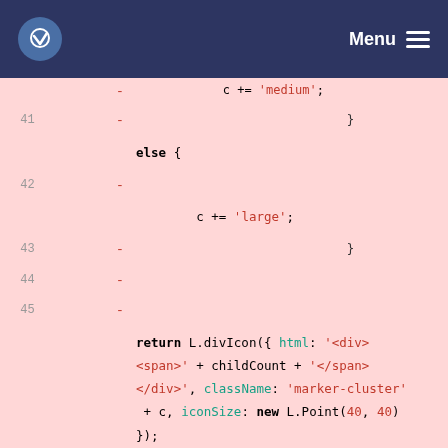Menu
[Figure (screenshot): Code diff view showing JavaScript code with line numbers on left (old) and right (new) columns. Removed lines highlighted in pink/red, added lines in green. Code shows a function returning L.divIcon with html, className, and iconSize parameters, being replaced by mapCustom.clusters.default(cluster) call.]